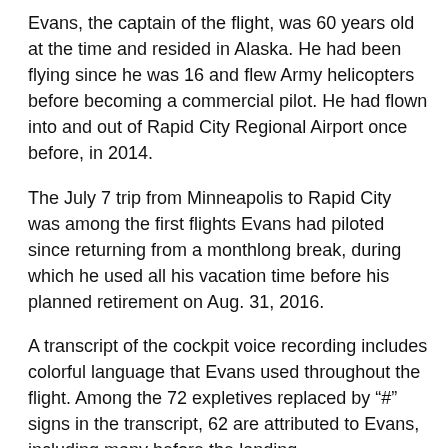Evans, the captain of the flight, was 60 years old at the time and resided in Alaska. He had been flying since he was 16 and flew Army helicopters before becoming a commercial pilot. He had flown into and out of Rapid City Regional Airport once before, in 2014.
The July 7 trip from Minneapolis to Rapid City was among the first flights Evans had piloted since returning from a monthlong break, during which he used all his vacation time before his planned retirement on Aug. 31, 2016.
A transcript of the cockpit voice recording includes colorful language that Evans used throughout the flight. Among the 72 expletives replaced by “#” signs in the transcript, 62 are attributed to Evans, including many before the landing.
The Journal asked NTSB spokesman Peter Knudson why the NTSB scrubs the expletives from transcripts, and whether the scrubbing masks unprofessional conduct in the cockpit.
“Including the actual expletives spoken by crew members